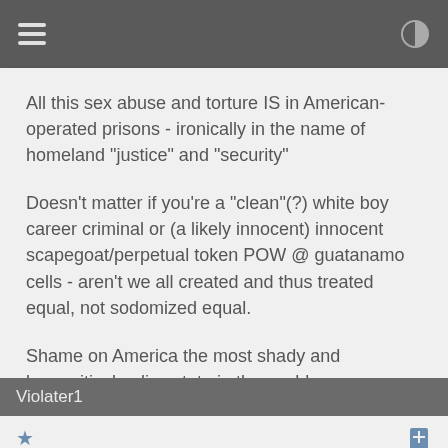All this sex abuse and torture IS in American-operated prisons - ironically in the name of homeland "justice" and "security"

Doesn't matter if you're a "clean"(?) white boy career criminal or (a likely innocent) innocent scapegoat/perpetual token POW @ guatanamo cells - aren't we all created and thus treated equal, not sodomized equal.

Shame on America the most shady and hypocritical police state in the world.
Violater1
posted on Mar, 24 2012 @ 11:35 AM
This is an every day occurrence in U.S. jails and prisons.